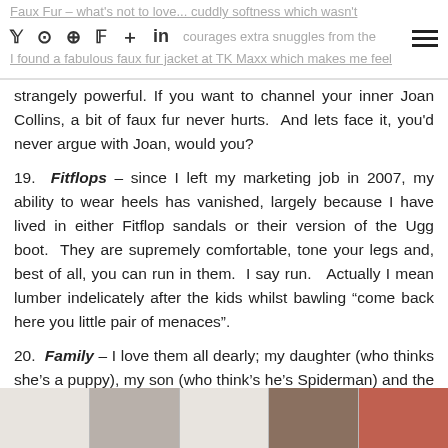Faux Fur – what's not to love... cuddly softness which wasn't... and encourages extra snuggles from the... I found a fabulous faux fur jacket at TK Maxx which makes me feel
strangely powerful. If you want to channel your inner Joan Collins, a bit of faux fur never hurts.  And lets face it, you'd never argue with Joan, would you?
19.  Fitflops – since I left my marketing job in 2007, my ability to wear heels has vanished, largely because I have lived in either Fitflop sandals or their version of the Ugg boot.  They are supremely comfortable, tone your legs and, best of all, you can run in them.  I say run.   Actually I mean lumber indelicately after the kids whilst bawling "come back here you little pair of menaces".
20.  Family – I love them all dearly; my daughter (who thinks she's a puppy), my son (who think's he's Spiderman) and the rest of our mad family unit who give me endless support and keep me sane (ish).  They are all, to quote the great philosopher Peter Andre, slightly "insania". Where would I be without them? Somewhere on a beach in the Maldives with Daniel Craig, that's where.
[Figure (photo): A horizontal photo strip at the bottom of the page showing partial images, appearing to be family photos with light, mid, and warm-toned segments.]